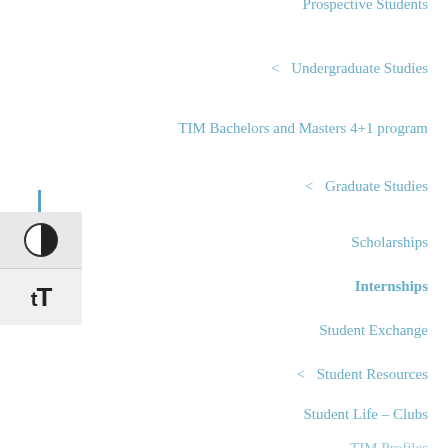Prospective Students
< Undergraduate Studies
TIM Bachelors and Masters 4+1 program
< Graduate Studies
Scholarships
Internships
Student Exchange
< Student Resources
Student Life – Clubs
TIM Profiles
Certificate Programs
[Figure (screenshot): Accessibility widget with contrast toggle (half-circle icon) and text size toggle (tT icon) on the left side of the page]